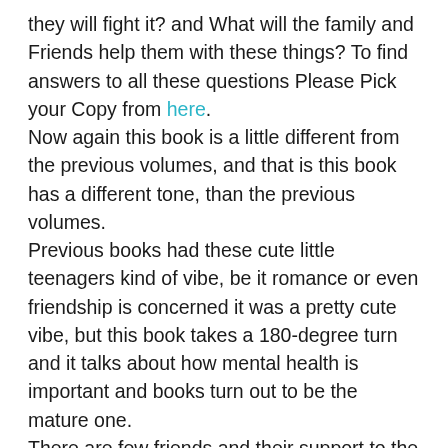they will fight it? and What will the family and Friends help them with these things? To find answers to all these questions Please Pick your Copy from here. Now again this book is a little different from the previous volumes, and that is this book has a different tone, than the previous volumes. Previous books had these cute little teenagers kind of vibe, be it romance or even friendship is concerned it was a pretty cute vibe, but this book takes a 180-degree turn and it talks about how mental health is important and books turn out to be the mature one. There are few friends and their support to the couple, the family also helps them to fight it, Moreover the couple they stayed together in the fight, and if we want to know whether they overcame that or not please grab your copy